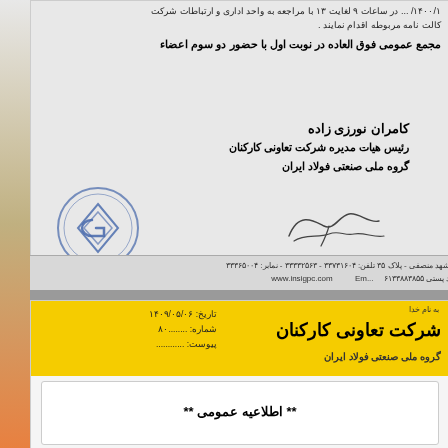۱۴۰۰/۱/ ... در ساعات ۹ لغایت ۱۳ با مراجعه به واحد اداری و ارتباطات شرکت کالت نامه مربوطه اقدام نمایند .
مجمع عمومی فوق العاده در نوبت اول با حضور دو سوم اعضاء
کامران نورزی زاده
رئیس هیات مدیره شرکت تعاونی کارکنان
گروه ملی صنعتی فولاد ایران
[Figure (illustration): Handwritten signature and official circular blue stamp of Goroh Melli Sanati Folad Iran cooperative]
مشهد منصفی - پلاک ۳۵  تلفن: ۳۳۷۳۱۶۰۴ - ۳۳۳۳۲۵۶۳ - نمابر: ۳۳۳۶۵۰۰۴
کد پستی ۶۱۳۳۸۸۳۸۵۵    www.insigpc.com    Em...
به نام خدا
شرکت تعاونی کارکنان
گروه ملی صنعتی فولاد ایران
تاریخ: ۱۴۰۹/۰۵/۰۶
شماره: ........۸۰
پیوست: ...........
** اطلاعیه عمومی **